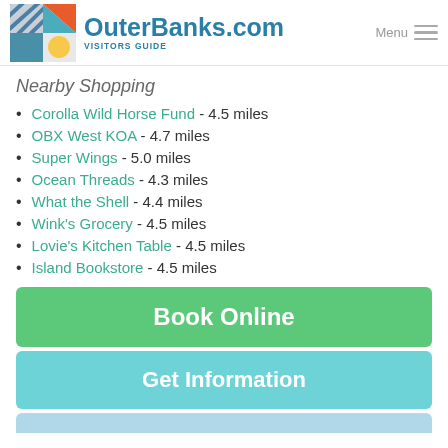OuterBanks.com Visitors Guide
Nearby Shopping
Corolla Wild Horse Fund - 4.5 miles
OBX West KOA - 4.7 miles
Super Wings - 5.0 miles
Ocean Threads - 4.3 miles
What the Shell - 4.4 miles
Wink's Grocery - 4.5 miles
Lovie's Kitchen Table - 4.5 miles
Island Bookstore - 4.5 miles
Book Online
Get Information